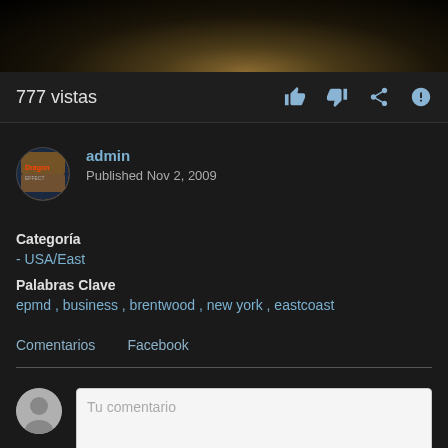[Figure (photo): Dark video thumbnail showing a shadowy figure against a dark background]
777 vistas
Categoría
- USA/East
Palabras Clave
epmd , business , brentwood , new york , eastcoast
Comentarios   Facebook
Tu comentario